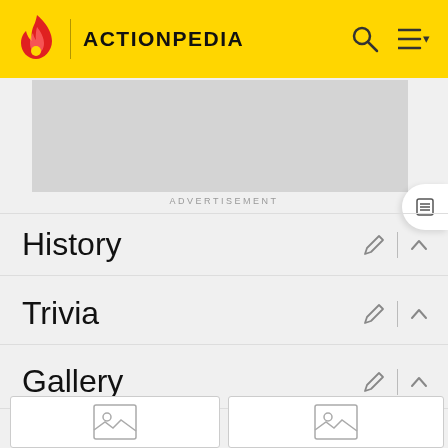ACTIONPEDIA
[Figure (other): Advertisement placeholder gray rectangle]
ADVERTISEMENT
History
Trivia
Gallery
Promotional Media
Screenshots
[Figure (photo): Screenshot image placeholder 1]
[Figure (photo): Screenshot image placeholder 2]